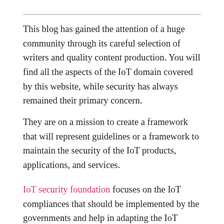This blog has gained the attention of a huge community through its careful selection of writers and quality content production. You will find all the aspects of the IoT domain covered by this website, while security has always remained their primary concern.
They are on a mission to create a framework that will represent guidelines or a framework to maintain the security of the IoT products, applications, and services.
IoT security foundation focuses on the IoT compliances that should be implemented by the governments and help in adapting the IoT technologies. Expert opinions on the various IoT sectors are also displayed, along with proper explanations. This website will also get